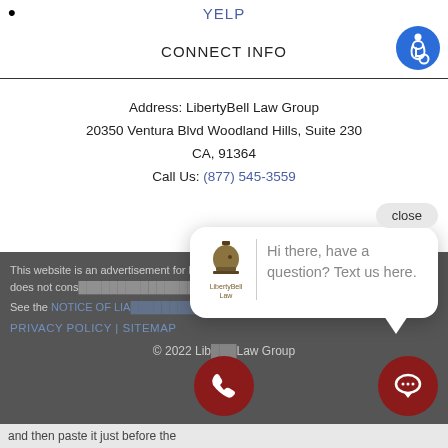YELP
CONNECT INFO
Address: LibertyBell Law Group
20350 Ventura Blvd Woodland Hills, Suite 230
CA, 91364
Call Us: (877) 545-3559
close
This website is an advertisement for legal services. The information on the website does not cons... al
See the NOTICE OF LIA... the
[Figure (logo): LibertyBell Law logo]
Hi there, have a question? Text us here.
PRIVACY POLICY | SITEMAP
© 2022 LibertyBell Law Group
and then paste it just before the